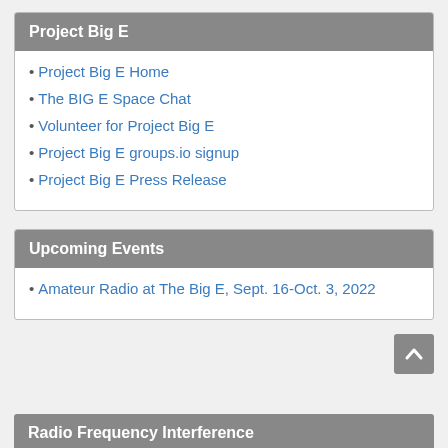Project Big E
Project Big E Home
The BIG E Space Chat
Volunteer for Project Big E
Project Big E groups.io signup
Project Big E Press Release
Upcoming Events
Amateur Radio at The Big E, Sept. 16-Oct. 3, 2022
Radio Frequency Interference